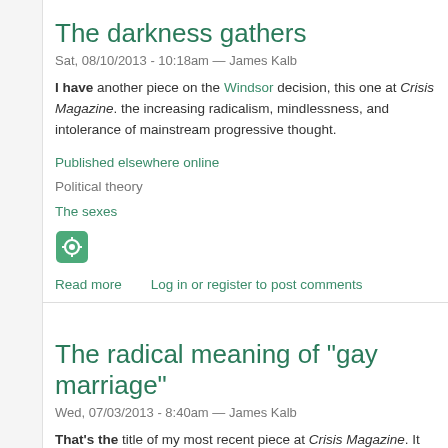The darkness gathers
Sat, 08/10/2013 - 10:18am — James Kalb
I have another piece on the Windsor decision, this one at Crisis Magazine. the increasing radicalism, mindlessness, and intolerance of mainstream progressive thought.
Published elsewhere online
Political theory
The sexes
Read more   Log in or register to post comments
The radical meaning of "gay marriage"
Wed, 07/03/2013 - 8:40am — James Kalb
That's the title of my most recent piece at Crisis Magazine. It discusses rec developments in connection with the trend toward a single universal regime and regulation in which no point has privileged independence.